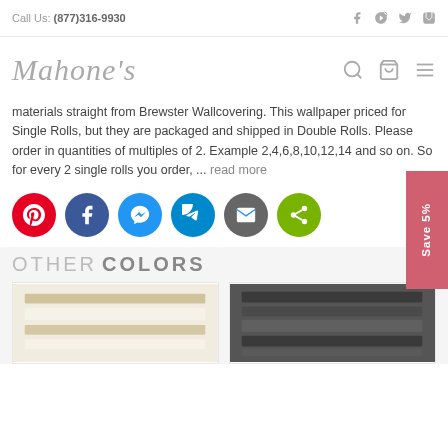Call Us: (877)316-9930
[Figure (logo): Mahone's cursive logo with search, cart, and menu icons]
materials straight from Brewster Wallcovering. This wallpaper priced for Single Rolls, but they are packaged and shipped in Double Rolls. Please order in quantities of multiples of 2. Example 2,4,6,8,10,12,14 and so on. So for every 2 single rolls you order, ... read more
[Figure (infographic): Social share buttons: Pinterest (red), Facebook (dark blue), Messenger (blue), Telegram (light blue), Email (gray), Share (green). Save 5% badge on right.]
OTHER COLORS
[Figure (photo): Light cream/tan horizontal striped wallpaper swatch]
[Figure (photo): Dark gray/charcoal horizontal striped wallpaper swatch]